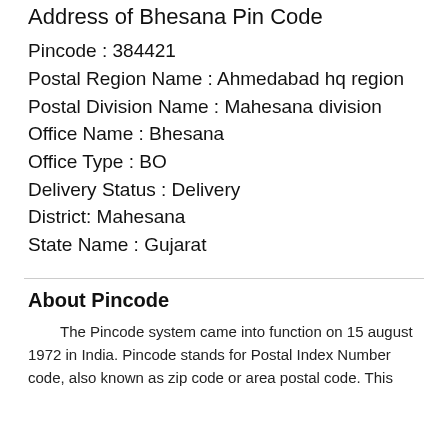Address of Bhesana Pin Code
Pincode : 384421
Postal Region Name : Ahmedabad hq region
Postal Division Name : Mahesana division
Office Name : Bhesana
Office Type : BO
Delivery Status : Delivery
District: Mahesana
State Name : Gujarat
About Pincode
The Pincode system came into function on 15 august 1972 in India. Pincode stands for Postal Index Number code, also known as zip code or area postal code. This